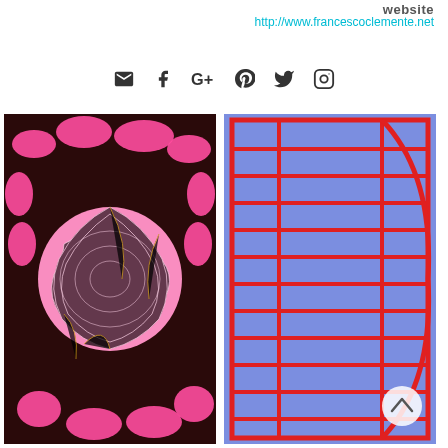website
http://www.francescoclemente.net
[Figure (infographic): Row of social media icons: email envelope, Facebook f, Google+, Pinterest p, Twitter bird, Instagram camera]
[Figure (photo): Artwork showing pink flamingo-like figures surrounding a large pink ball of yarn on dark brown background]
[Figure (photo): Artwork showing red grid/stripe pattern over blue background suggesting an abstract architectural or figure form]